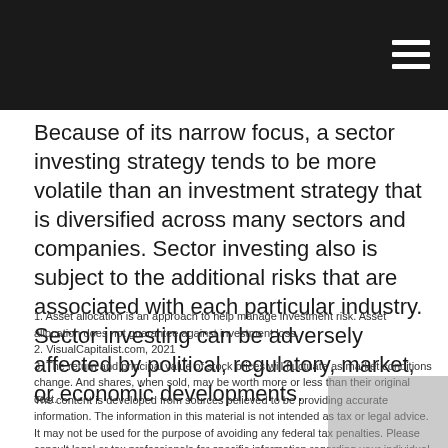Because of its narrow focus, a sector investing strategy tends to be more volatile than an investment strategy that is diversified across many sectors and companies. Sector investing also is subject to the additional risks that are associated with each particular industry. Sector investing can be adversely affected by political, regulatory, market, or economic developments.
1. Asset allocation is an approach to help manage investment risk. Asset allocation does not guarantee against investment loss.
2. VisualCapitalist.com, 2021
3. The return and principal value of stock prices will fluctuate as market conditions change. And shares, when sold, may be worth more or less than their original cost.
The content is developed from sources believed to be providing accurate information. The information in this material is not intended as tax or legal advice. It may not be used for the purpose of avoiding any federal tax penalties. Please consult legal or tax professionals for specific information regarding your individual situation. This material was developed and produced by FMG Suite to provide information on a topic that may be of interest. FMG Suite is not affiliated with the named broker-dealer, state- or SEC-registered investment advisory firm. The opinions expressed and material